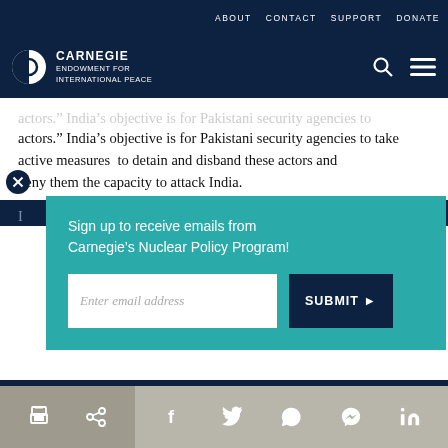ABOUT  CONTACT  SUPPORT  DONATE
CARNEGIE ENDOWMENT FOR INTERNATIONAL PEACE
actors.” India’s objective is for Pakistani security agencies to take active measures  to detain and disband these actors and deny them the capacity to attack India.
Sign up to receive emails from Carnegie’s Nuclear Policy Program!
Enter email address
SUBMIT ►
our cookie policy.
Print | Share | Facebook | Twitter | WhatsApp | Messenger | LinkedIn